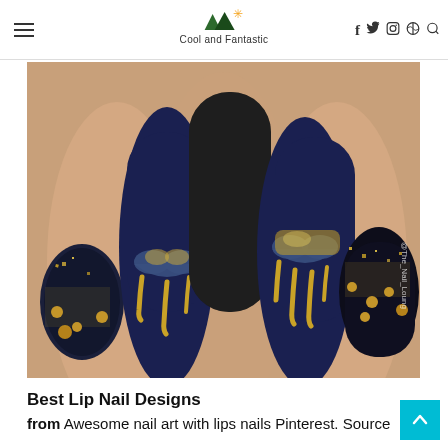Cool and Fantastic — navigation header with social icons
[Figure (photo): Close-up photo of nail art featuring matte black and navy blue coffin-shaped nails with gold glitter dripping heart/lip designs and gold studs, credited to @The_Nail_Lounge]
Best Lip Nail Designs
from Awesome nail art with lips nails Pinterest. Source